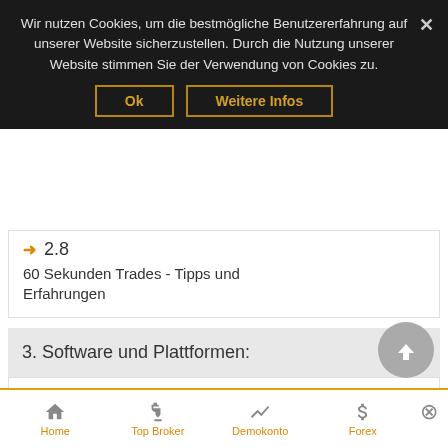Wir nutzen Cookies, um die bestmögliche Benutzererfahrung auf unserer Website sicherzustellen. Durch die Nutzung unserer Website stimmen Sie der Verwendung von Cookies zu.
Ok
Weitere Infos
2.8
60 Sekunden Trades - Tipps und Erfahrungen
3. Software und Plattformen:
3.1
Überblick zu Software & Plattformen
Home   Top Broker   Demokonto   Forex